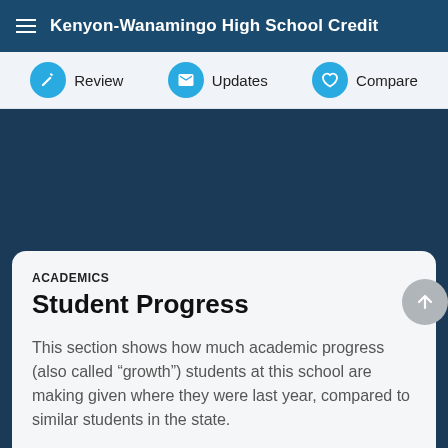Kenyon-Wanamingo High School Credit
Review   Updates   Compare
ACADEMICS
Student Progress
This section shows how much academic progress (also called “growth”) students at this school are making given where they were last year, compared to similar students in the state.
Currently, this information is unavailable. Update me